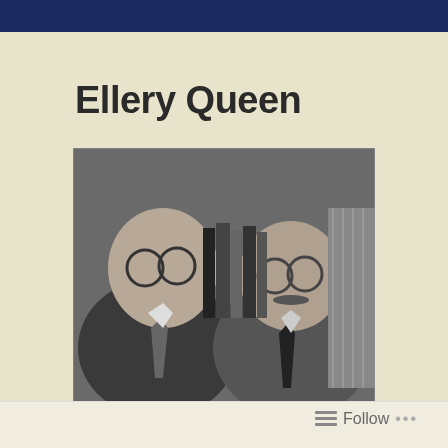Ellery Queen
[Figure (photo): Black and white photograph of two men wearing suits and glasses, seated in front of a bookshelf with novels. The man on the left is balding and has round glasses, the man on the right is also balding with a mustache and glasses. Both are wearing ties.]
Follow ...